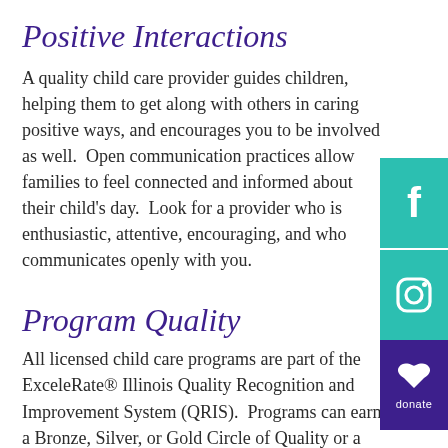Positive Interactions
A quality child care provider guides children, helping them to get along with others in caring positive ways, and encourages you to be involved as well.  Open communication practices allow families to feel connected and informed about their child's day.  Look for a provider who is enthusiastic, attentive, encouraging, and who communicates openly with you.
[Figure (infographic): Teal Facebook icon button on sidebar]
[Figure (infographic): Teal Instagram icon button on sidebar]
[Figure (infographic): Purple donate button with handshake/heart icon on sidebar]
Program Quality
All licensed child care programs are part of the ExceleRate® Illinois Quality Recognition and Improvement System (QRIS).  Programs can earn a Bronze, Silver, or Gold Circle of Quality or a national accreditation award by meeting